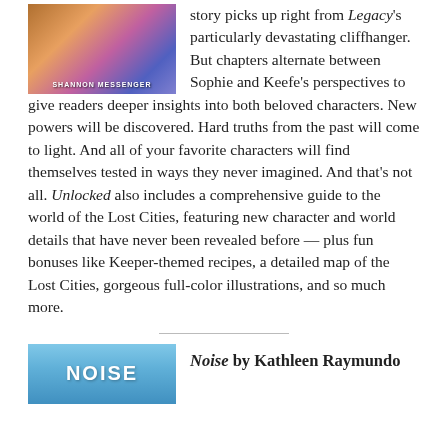[Figure (illustration): Book cover image with fantasy artwork featuring a winged creature, colorful background, and the author name SHANNON MESSENGER at the bottom]
story picks up right from Legacy's particularly devastating cliffhanger. But chapters alternate between Sophie and Keefe's perspectives to give readers deeper insights into both beloved characters. New powers will be discovered. Hard truths from the past will come to light. And all of your favorite characters will find themselves tested in ways they never imagined. And that's not all. Unlocked also includes a comprehensive guide to the world of the Lost Cities, featuring new character and world details that have never been revealed before — plus fun bonuses like Keeper-themed recipes, a detailed map of the Lost Cities, gorgeous full-color illustrations, and so much more.
[Figure (illustration): Book cover for Noise showing a light blue background with the word NOISE in large letters]
Noise by Kathleen Raymundo